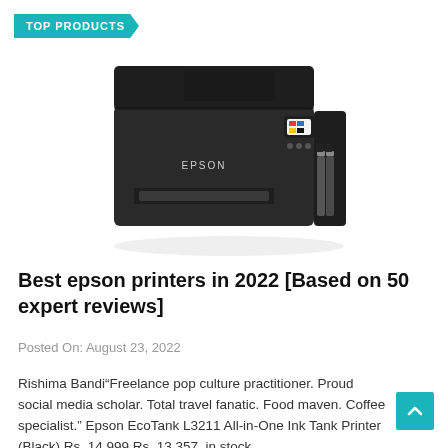TOP PRODUCTS
[Figure (photo): Epson EcoTank L3211 all-in-one inkjet printer in black, shown at an angle with ink tanks visible on the right side.]
Best epson printers in 2022 [Based on 50 expert reviews]
Posted On: August 23, 2022
Rishima Bandi“Freelance pop culture practitioner. Proud social media scholar. Total travel fanatic. Food maven. Coffee specialist.” Epson EcoTank L3211 All-in-One Ink Tank Printer (Black) Rs. 14,999 Rs. 13,357  in stock